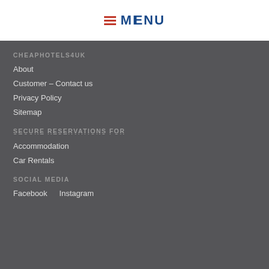MENU
CHEAPHOTELS4UK
About
Customer – Contact us
Privacy Policy
Sitemap
SECURE RESERVATIONS FOR
Accommodation
Car Rentals
SOCIAL MEDIA
Facebook
Instagram